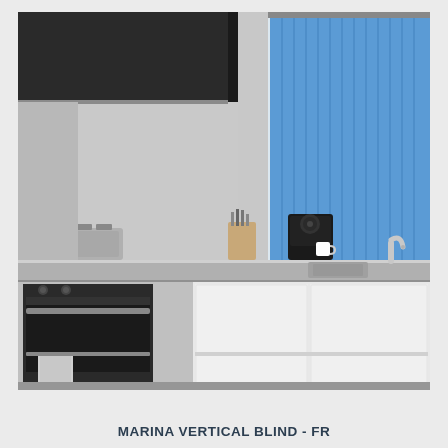[Figure (photo): A modern kitchen scene with white gloss cabinets, stainless steel countertop, black oven, coffee machine, knife block, and a bright blue vertical blind covering a window on the right side. A chrome tap/faucet is visible near the window.]
MARINA VERTICAL BLIND - FR